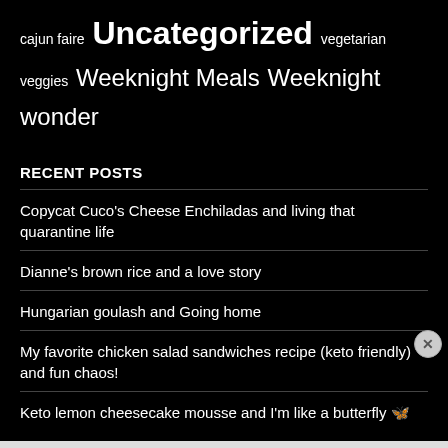cajun faire  Uncategorized  vegetarian  veggies  Weeknight Meals  Weeknight wonder
RECENT POSTS
Copycat Cuco's Cheese Enchiladas and living that quarantine life
Dianne's brown rice and a love story
Hungarian goulash and Going home
My favorite chicken salad sandwiches recipe (keto friendly) and fun chaos!
Keto lemon cheesecake mousse and I'm like a butterfly 🦋
Advertisements
[Figure (other): Seamless food delivery advertisement banner with pizza image, Seamless logo in red, and ORDER NOW button]